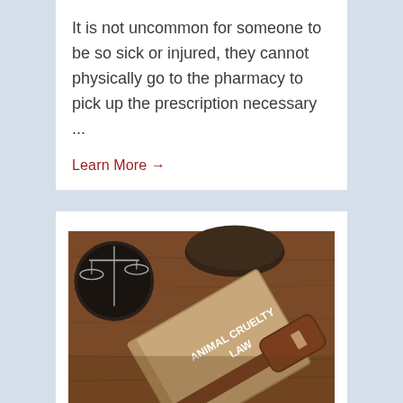It is not uncommon for someone to be so sick or injured, they cannot physically go to the pharmacy to pick up the prescription necessary ...
Learn More →
[Figure (photo): A gavel resting on a book labeled 'ANIMAL CRUELTY LAW' on a wooden table, with scales of justice in the background.]